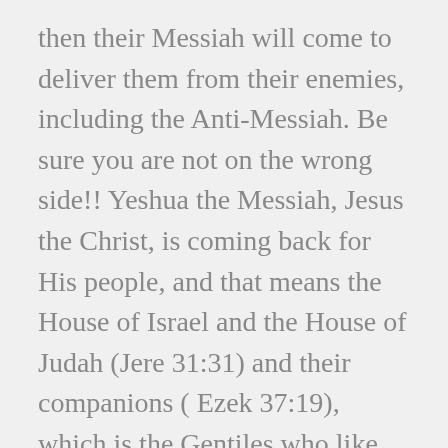then their Messiah will come to deliver them from their enemies, including the Anti-Messiah. Be sure you are not on the wrong side!! Yeshua the Messiah, Jesus the Christ, is coming back for His people, and that means the House of Israel and the House of Judah (Jere 31:31) and their companions ( Ezek 37:19), which is the Gentiles who like Ruth, have come alongside the Messianic Jews to embrace them and their God. We owe a great debt to the Jewish people for all that they have endured to preserve the Word of God (Romans 9:4-5) You do not bear the root but the root bears you!(Romans 11:18) And Jesus will rule and reign here on this earth in the promised Land and will fulfill His promises to the children of Israel, and reign upon the